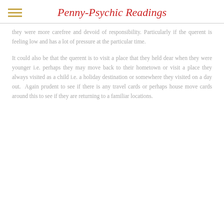Penny-Psychic Readings
they were more carefree and devoid of responsibility. Particularly if the querent is feeling low and has a lot of pressure at the particular time.
It could also be that the querent is to visit a place that they held dear when they were younger i.e. perhaps they may move back to their hometown or visit a place they always visited as a child i.e. a holiday destination or somewhere they visited on a day out. Again prudent to see if there is any travel cards or perhaps house move cards around this to see if they are returning to a familiar locations.